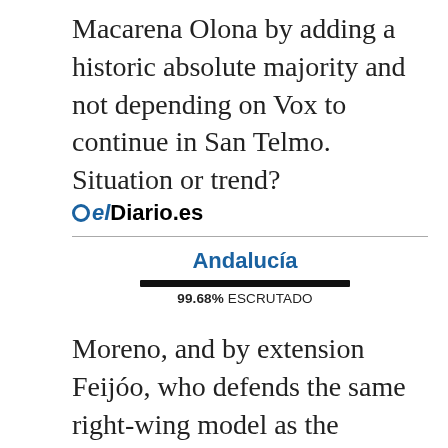Macarena Olona by adding a historic absolute majority and not depending on Vox to continue in San Telmo. Situation or trend?
[Figure (logo): elDiario.es logo with blue circle icon]
Andalucía
99.68% ESCRUTADO
Moreno, and by extension Feijóo, who defends the same right-wing model as the Andalusian, has served him not to risk too much, to stand in profile before the extreme right and play moderation so that the electorate trusts a PP that with Pablo Casado he looked self...